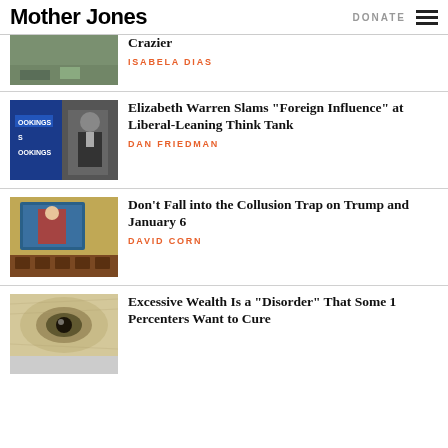Mother Jones | DONATE
[Figure (photo): Partial photo of an outdoor scene, clipped at top]
Crazier
ISABELA DIAS
[Figure (photo): Man in suit speaking at a Brookings Institution podium]
Elizabeth Warren Slams “Foreign Influence” at Liberal-Leaning Think Tank
DAN FRIEDMAN
[Figure (photo): Large screen showing Trump at a Congressional hearing]
Don’t Fall into the Collusion Trap on Trump and January 6
DAVID CORN
[Figure (photo): Close-up of an eye on a dollar bill engraving]
Excessive Wealth Is a “Disorder” That Some 1 Percenters Want to Cure